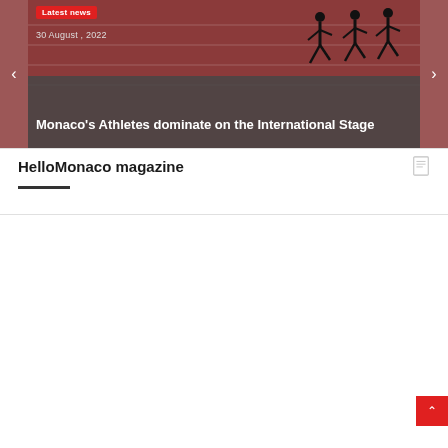[Figure (photo): Hero image showing silhouettes of runners on a red running track, with a dark gray overlay at the bottom containing article metadata and title. Navigation arrows on left and right sides.]
Latest news
30 August , 2022
Monaco’s Athletes dominate on the International Stage
HelloMonaco magazine